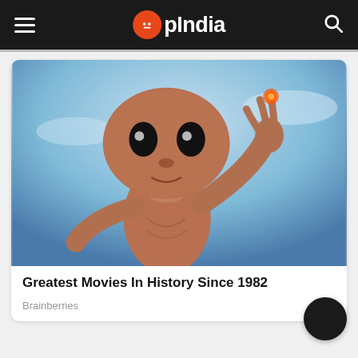OpIndia
[Figure (photo): Photo of E.T. the Extra-Terrestrial character from the 1982 movie, holding up a glowing finger, against a blue sky background]
Greatest Movies In History Since 1982
Brainberries
Recently Popular